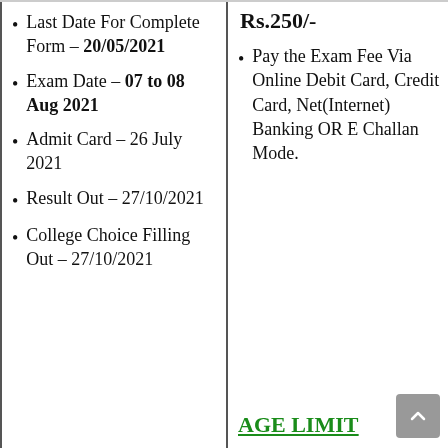Last Date For Complete Form – 20/05/2021
Exam Date – 07 to 08 Aug 2021
Admit Card – 26 July 2021
Result Out – 27/10/2021
College Choice Filling Out – 27/10/2021
Rs.250/-
Pay the Exam Fee Via Online Debit Card, Credit Card, Net(Internet) Banking OR E Challan Mode.
AGE LIMIT